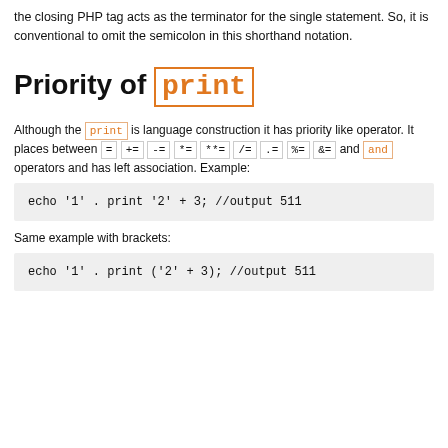the closing PHP tag acts as the terminator for the single statement. So, it is conventional to omit the semicolon in this shorthand notation.
Priority of print
Although the print is language construction it has priority like operator. It places between = += -= *= **= /= .= %= &= and and operators and has left association. Example:
echo '1' . print '2' + 3; //output 511
Same example with brackets:
echo '1' . print ('2' + 3); //output 511